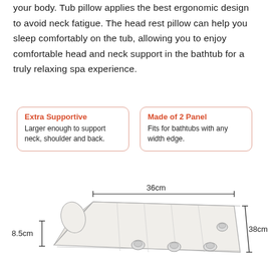your body. Tub pillow applies the best ergonomic design to avoid neck fatigue. The head rest pillow can help you sleep comfortably on the tub, allowing you to enjoy comfortable head and neck support in the bathtub for a truly relaxing spa experience.
Extra Supportive
Larger enough to support neck, shoulder and back.
Made of 2 Panel
Fits for bathtubs with any width edge.
[Figure (engineering-diagram): Product diagram of a bathtub pillow showing dimensions: 36cm width at top, 38cm length on the right side, and 8.5cm height on the left side. The pillow has suction cups on the bottom and a mesh/fabric texture.]